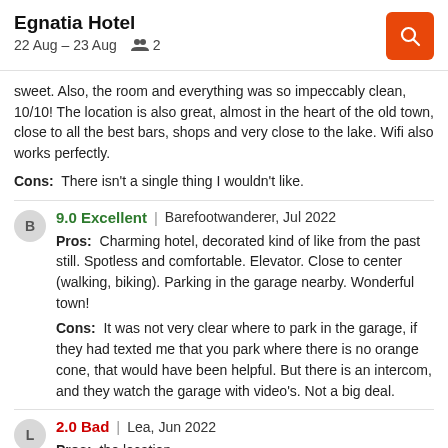Egnatia Hotel | 22 Aug – 23 Aug | 2 guests
sweet. Also, the room and everything was so impeccably clean, 10/10! The location is also great, almost in the heart of the old town, close to all the best bars, shops and very close to the lake. Wifi also works perfectly.
Cons: There isn't a single thing I wouldn't like.
9.0 Excellent | Barefootwanderer, Jul 2022
Pros: Charming hotel, decorated kind of like from the past still. Spotless and comfortable. Elevator. Close to center (walking, biking). Parking in the garage nearby. Wonderful town!
Cons: It was not very clear where to park in the garage, if they had texted me that you park where there is no orange cone, that would have been helpful. But there is an intercom, and they watch the garage with video's. Not a big deal.
2.0 Bad | Lea, Jun 2022
Pros: the location
Cons: very uncomfortable bed, I had back pain all the night,